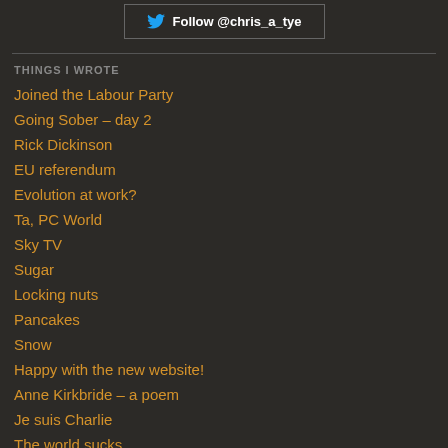[Figure (other): Twitter follow button widget showing 'Follow @chris_a_tye' with Twitter bird icon]
THINGS I WROTE
Joined the Labour Party
Going Sober – day 2
Rick Dickinson
EU referendum
Evolution at work?
Ta, PC World
Sky TV
Sugar
Locking nuts
Pancakes
Snow
Happy with the new website!
Anne Kirkbride – a poem
Je suis Charlie
The world sucks